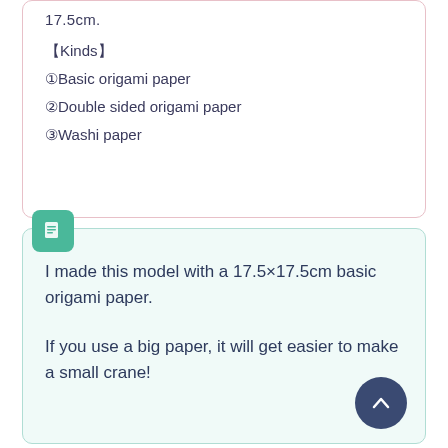17.5cm.
【Kinds】
①Basic origami paper
②Double sided origami paper
③Washi paper
I made this model with a 17.5×17.5cm basic origami paper.
If you use a big paper, it will get easier to make a small crane!